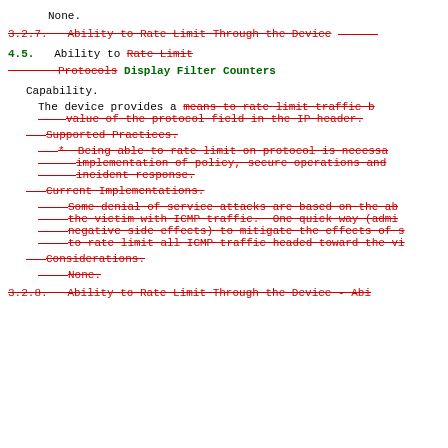None.
3.2.7.   Ability to Rate Limit Through the Device (strikethrough, red)
4.5.  Ability to Rate Limit Protocols Display Filter Counters (mixed red strikethrough and green)
Capability.
The device provides a means to rate limit traffic b... value of the protocol field in the IP header. (strikethrough red)
Supported Practices. (strikethrough red)
*  Being able to rate limit on protocol is necessa... implementation of policy, secure operations and ... incident response. (strikethrough red)
Current Implementations. (strikethrough red)
Some denial of service attacks are based on the ab... the victim with ICMP traffic.  One quick way (admi... negative side effects) to mitigate the effects of s... to rate limit all ICMP traffic headed toward the vi... (strikethrough red)
Considerations. (strikethrough red)
None. (strikethrough red)
3.2.8.   Ability to Rate Limit Through the Device - Abi... (strikethrough red, partial)